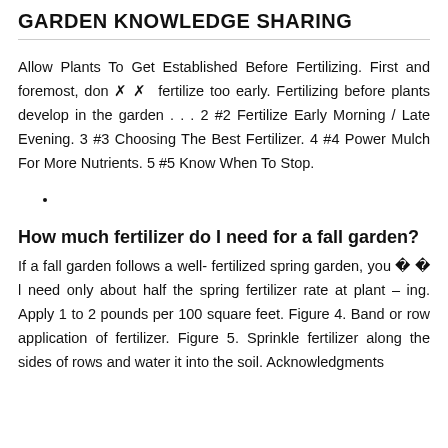GARDEN KNOWLEDGE SHARING
Allow Plants To Get Established Before Fertilizing. First and foremost, don ✗ ✗  fertilize too early. Fertilizing before plants develop in the garden . . . 2 #2 Fertilize Early Morning / Late Evening. 3 #3 Choosing The Best Fertilizer. 4 #4 Power Mulch For More Nutrients. 5 #5 Know When To Stop.
How much fertilizer do I need for a fall garden?
If a fall garden follows a well- fertilized spring garden, you � � l need only about half the spring fertilizer rate at plant – ing. Apply 1 to 2 pounds per 100 square feet. Figure 4. Band or row application of fertilizer. Figure 5. Sprinkle fertilizer along the sides of rows and water it into the soil. Acknowledgments